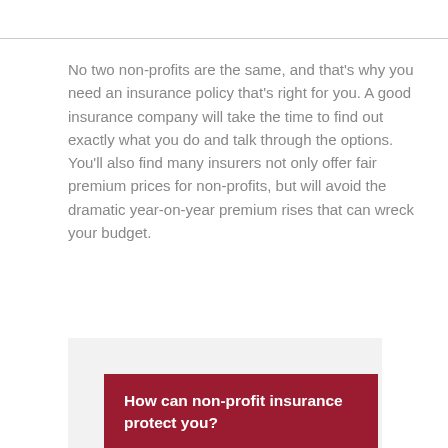No two non-profits are the same, and that's why you need an insurance policy that's right for you. A good insurance company will take the time to find out exactly what you do and talk through the options. You'll also find many insurers not only offer fair premium prices for non-profits, but will avoid the dramatic year-on-year premium rises that can wreck your budget.
How can non-profit insurance protect you?